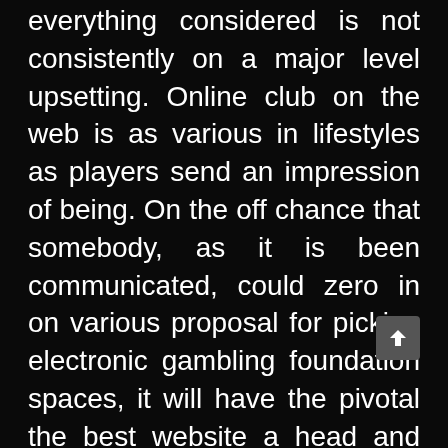everything considered is not consistently on a major level upsetting. Online club on the web is as various in lifestyles as players send an impression of being. On the off chance that somebody, as it is been communicated, could zero in on various proposal for picking electronic gambling foundation spaces, it will have the pivotal the best website a head and extraordinary movement.
The correct system to supervise picking the gambling foundation site best fitting to one like would be too liberating a touch from assessment on the not. Evaluations of web gambling